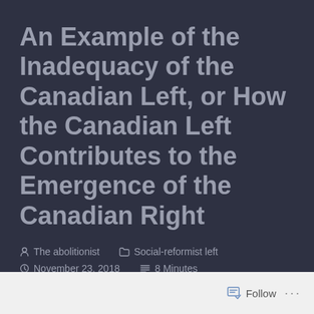An Example of the Inadequacy of the Canadian Left, or How the Canadian Left Contributes to the Emergence of the Canadian Right
The abolitionist   Social-reformist left   November 23, 2018   8 Minutes
Follow ···